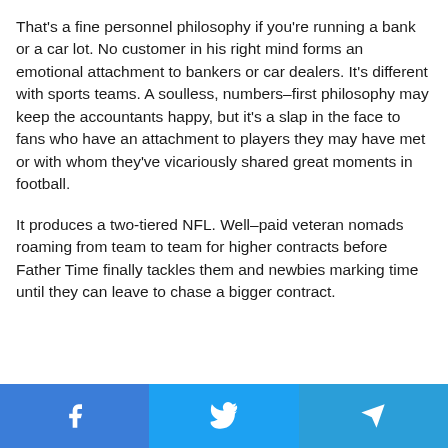That's a fine personnel philosophy if you're running a bank or a car lot. No customer in his right mind forms an emotional attachment to bankers or car dealers. It's different with sports teams. A soulless, numbers–first philosophy may keep the accountants happy, but it's a slap in the face to fans who have an attachment to players they may have met or with whom they've vicariously shared great moments in football.
It produces a two-tiered NFL. Well–paid veteran nomads roaming from team to team for higher contracts before Father Time finally tackles them and newbies marking time until they can leave to chase a bigger contract.
[Figure (infographic): Social sharing bar with three buttons: Facebook (blue), Twitter (light blue), Telegram (medium blue)]